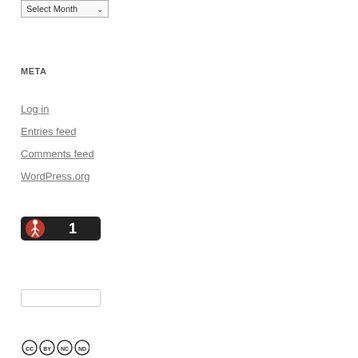[Figure (screenshot): Select Month dropdown widget]
META
Log in
Entries feed
Comments feed
WordPress.org
[Figure (logo): Dark badge with walking person icon and number 1]
[Figure (other): White input box widget]
[Figure (logo): Creative Commons license badge showing BY NC ND icons]